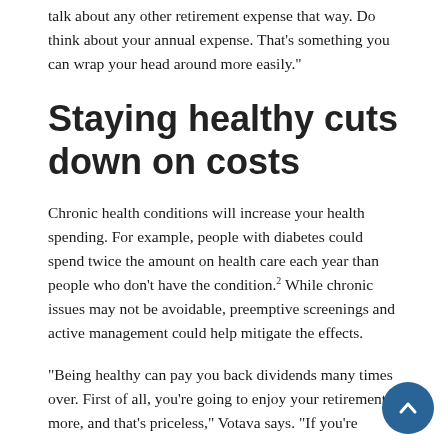talk about any other retirement expense that way. Do think about your annual expense. That's something you can wrap your head around more easily."
Staying healthy cuts down on costs
Chronic health conditions will increase your health spending. For example, people with diabetes could spend twice the amount on health care each year than people who don't have the condition.² While chronic issues may not be avoidable, preemptive screenings and active management could help mitigate the effects.
"Being healthy can pay you back dividends many times over. First of all, you're going to enjoy your retirement more, and that's priceless," Votava says. "If you're